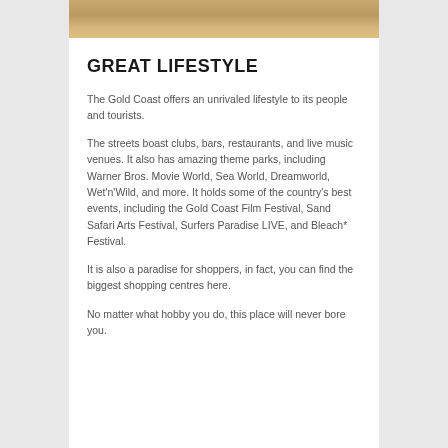[Figure (photo): Top portion of a sandy/golden textured photo, likely a beach or sand dune scene.]
GREAT LIFESTYLE
The Gold Coast offers an unrivaled lifestyle to its people and tourists.
The streets boast clubs, bars, restaurants, and live music venues. It also has amazing theme parks, including Warner Bros. Movie World, Sea World, Dreamworld, Wet'n'Wild, and more. It holds some of the country's best events, including the Gold Coast Film Festival, Sand Safari Arts Festival, Surfers Paradise LIVE, and Bleach* Festival.
It is also a paradise for shoppers, in fact, you can find the biggest shopping centres here.
No matter what hobby you do, this place will never bore you.